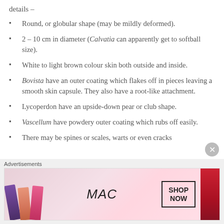details –
Round, or globular shape (may be mildly deformed).
2 – 10 cm in diameter (Calvatia can apparently get to softball size).
White to light brown colour skin both outside and inside.
Bovista have an outer coating which flakes off in pieces leaving a smooth skin capsule. They also have a root-like attachment.
Lycoperdon have an upside-down pear or club shape.
Vascellum have powdery outer coating which rubs off easily.
There may be spines or scales, warts or even cracks
Advertisements
[Figure (photo): MAC Cosmetics advertisement showing lipsticks in purple, peach, pink and red colors with MAC logo and SHOP NOW button]